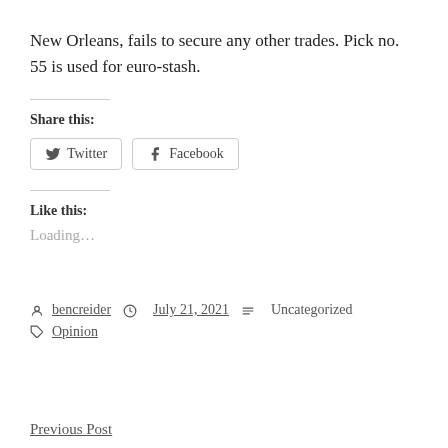New Orleans, fails to secure any other trades. Pick no. 55 is used for euro-stash.
Share this:
Twitter  Facebook
Like this:
Loading…
bencreider  July 21, 2021  Uncategorized  Opinion
Previous Post